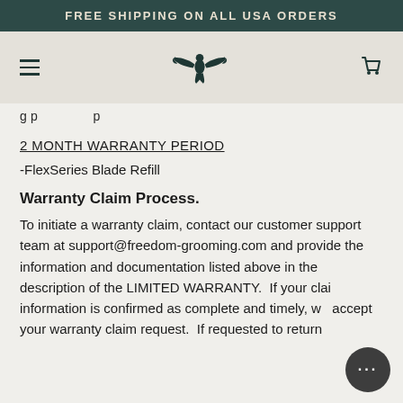FREE SHIPPING ON ALL USA ORDERS
[Figure (logo): Eagle logo with wings spread, dark teal color, centered in navigation bar]
g p p
2 MONTH WARRANTY PERIOD
-FlexSeries Blade Refill
Warranty Claim Process.
To initiate a warranty claim, contact our customer support team at support@freedom-grooming.com and provide the information and documentation listed above in the description of the LIMITED WARRANTY.  If your claim information is confirmed as complete and timely, we accept your warranty claim request.  If requested to return